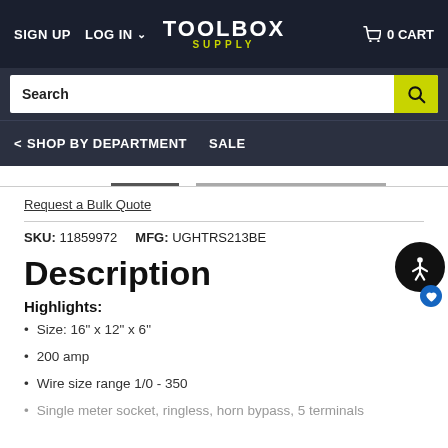SIGN UP  LOG IN  TOOLBOX SUPPLY  0 CART
Search
< SHOP BY DEPARTMENT  SALE
Request a Bulk Quote
SKU: 11859972   MFG: UGHTRS213BE
Description
Highlights:
Size: 16" x 12" x 6"
200 amp
Wire size range 1/0 - 350
Single meter socket, ringless, horn bypass, 5 terminals